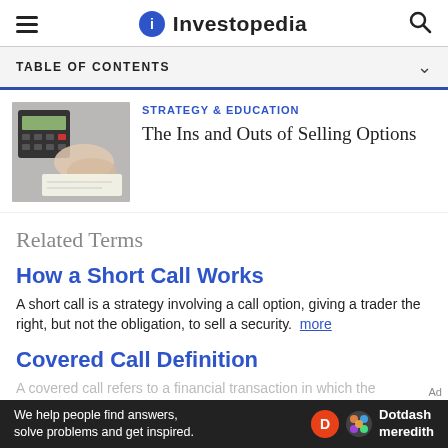Investopedia
TABLE OF CONTENTS
[Figure (photo): Person using calculator and writing on paper at desk]
STRATEGY & EDUCATION
The Ins and Outs of Selling Options
Related Terms
How a Short Call Works
A short call is a strategy involving a call option, giving a trader the right, but not the obligation, to sell a security. more
Covered Call Definition
A covered call refers to a financial transaction in which the
We help people find answers, solve problems and get inspired. Dotdash meredith